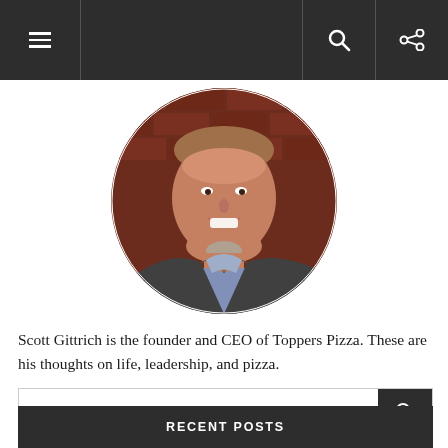Navigation bar with menu, search, and share icons
[Figure (photo): Circular portrait photo of Scott Gittrich, a smiling middle-aged man in a grey blazer and blue shirt, against a brick wall background]
Scott Gittrich is the founder and CEO of Toppers Pizza. These are his thoughts on life, leadership, and pizza.
Search...
RECENT POSTS